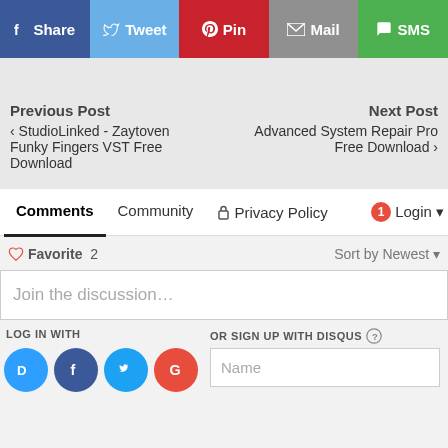[Figure (infographic): Social share buttons: Share (Facebook, blue), Tweet (Twitter, light blue), Pin (Pinterest, red), Mail (grey), SMS (green)]
Previous Post
‹ StudioLinked - Zaytoven Funky Fingers VST Free Download
Next Post
Advanced System Repair Pro Free Download ›
Comments  Community  🔒 Privacy Policy  1  Login
♡ Favorite  2    Sort by Newest
Join the discussion…
LOG IN WITH
OR SIGN UP WITH DISQUS ?
Name